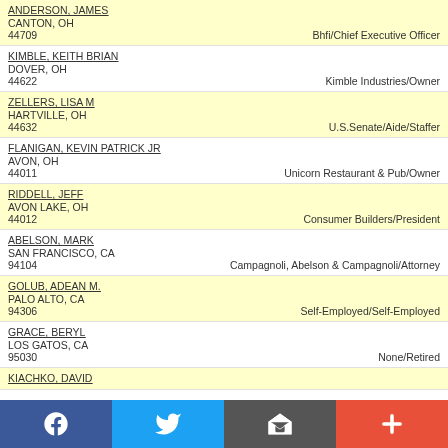ANDERSON, JAMES
CANTON, OH
44709	Bhfi/Chief Executive Officer
KIMBLE, KEITH BRIAN
DOVER, OH
44622	Kimble Industries/Owner
ZELLERS, LISA M
HARTVILLE, OH
44632	U.S.Senate/Aide/Staffer
FLANIGAN, KEVIN PATRICK JR
AVON, OH
44011	Unicorn Restaurant & Pub/Owner
RIDDELL, JEFF
AVON LAKE, OH
44012	Consumer Builders/President
ABELSON, MARK
SAN FRANCISCO, CA
94104	Campagnoli, Abelson & Campagnoli/Attorney
GOLUB, ADEAN M.
PALO ALTO, CA
94306	Self-Employed/Self-Employed
GRACE, BERYL
LOS GATOS, CA
95030	None/Retired
KIACHKO, DAVID